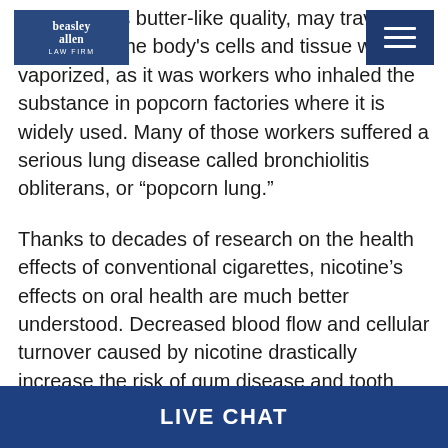Beasley Allen Law Firm [logo] [menu icon]
known for its butter-like quality, may travel farther into the body's cells and tissue when vaporized, as it was workers who inhaled the substance in popcorn factories where it is widely used. Many of those workers suffered a serious lung disease called bronchiolitis obliterans, or “popcorn lung.”
Thanks to decades of research on the health effects of conventional cigarettes, nicotine’s effects on oral health are much better understood. Decreased blood flow and cellular turnover caused by nicotine drastically increase the risk of gum disease and tooth loss.
This is especially bad news for JUUL users and others who vape products with a high nicotine content. JUUL
LIVE CHAT